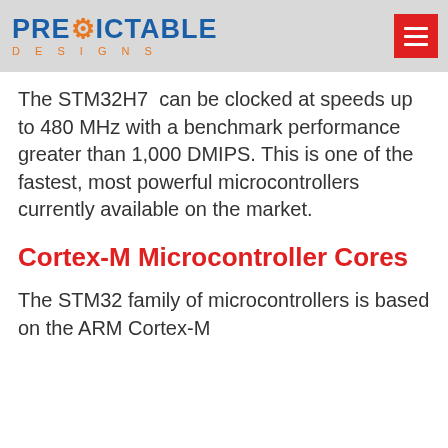PREDICTABLE DESIGNS
The STM32H7 can be clocked at speeds up to 480 MHz with a benchmark performance greater than 1,000 DMIPS. This is one of the fastest, most powerful microcontrollers currently available on the market.
Cortex-M Microcontroller Cores
The STM32 family of microcontrollers is based on the ARM Cortex-M